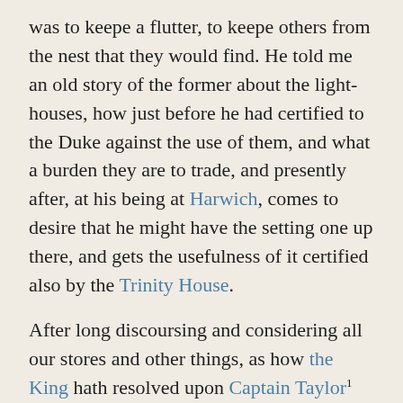was to keepe a flutter, to keepe others from the nest that they would find. He told me an old story of the former about the light-houses, how just before he had certified to the Duke against the use of them, and what a burden they are to trade, and presently after, at his being at Harwich, comes to desire that he might have the setting one up there, and gets the usefulness of it certified also by the Trinity House.
After long discoursing and considering all our stores and other things, as how the King hath resolved upon Captain Taylor¹ and Colonell Middleton, the first to be Commissioner for Harwich and the latter for Portsmouth, I away to the 'Change, and there did very much business, so home to dinner, and Mr. Duke, our Secretary for the Fishery, dined with me. After dinner to discourse of our business, much to my content, and then he away, and I by